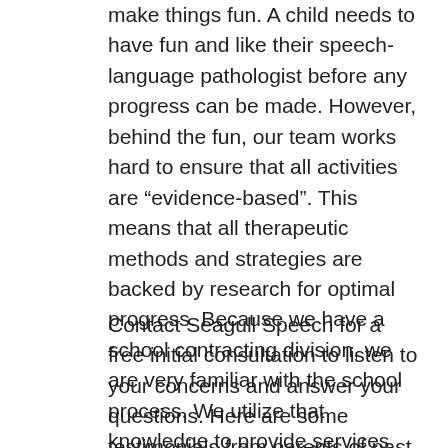make things fun. A child needs to have fun and like their speech-language pathologist before any progress can be made. However, behind the fun, our team works hard to ensure that all activities are “evidence-based”. This means that all therapeutic methods and strategies are backed by research for optimal progress. Because we have a school contracting division, we are very familiar with the school process. We utilize that knowledge to provide services that complement school based speech therapy if needed.
Contact Seagull Speech for a free initial consultation to listen to your concerns and answer your questions. Here are some testimonials from parents of past clients: